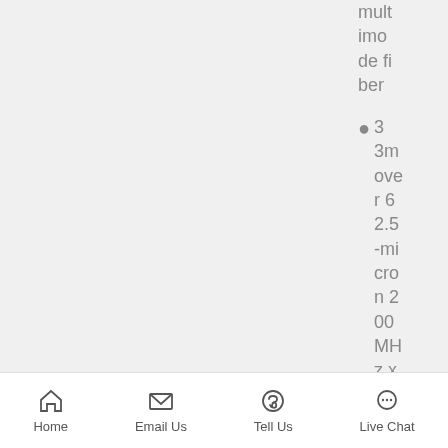multimode fiber
33m over 62.5-micron 200 MHz x km multimode fiber
Home | Email Us | Tell Us | Live Chat